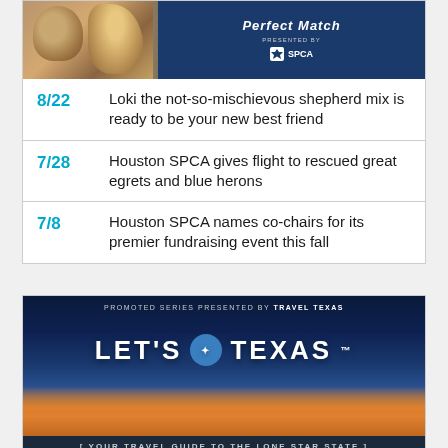[Figure (screenshot): Promotional banner image for Houston SPCA 'Perfect Match' series, showing a cat and dog photo alongside a blue banner with SPCA logo]
8/22 Loki the not-so-mischievous shepherd mix is ready to be your new best friend
7/28 Houston SPCA gives flight to rescued great egrets and blue herons
7/8 Houston SPCA names co-chairs for its premier fundraising event this fall
[Figure (infographic): Travel Texas advertisement: 'PROMOTED SERIES PRESENTED BY TRAVEL TEXAS' with large 'LET'S TEXAS' text over a scenic Texas sunset image, and tagline 'YOUR TRAVEL GUIDE TO THE LONE STAR STATE']